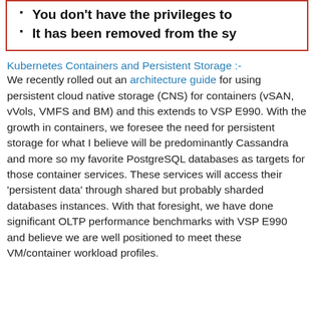You don't have the privileges to
It has been removed from the sy
Kubernetes Containers and Persistent Storage :-
We recently rolled out an architecture guide for using persistent cloud native storage (CNS) for containers (vSAN, vVols, VMFS and BM) and this extends to VSP E990. With the growth in containers, we foresee the need for persistent storage for what I believe will be predominantly Cassandra and more so my favorite PostgreSQL databases as targets for those container services. These services will access their 'persistent data' through shared but probably sharded databases instances. With that foresight, we have done significant OLTP performance benchmarks with VSP E990 and believe we are well positioned to meet these VM/container workload profiles.